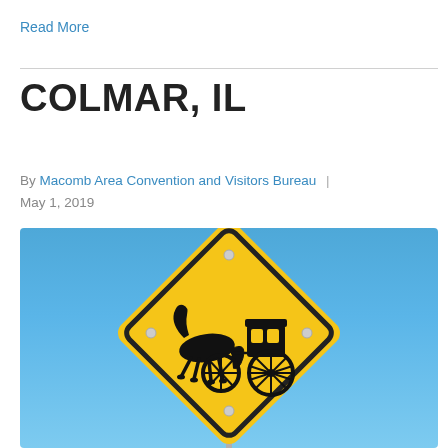Read More
COLMAR, IL
By Macomb Area Convention and Visitors Bureau  |  May 1, 2019
[Figure (photo): Yellow diamond-shaped horse and buggy warning road sign against a clear blue sky]